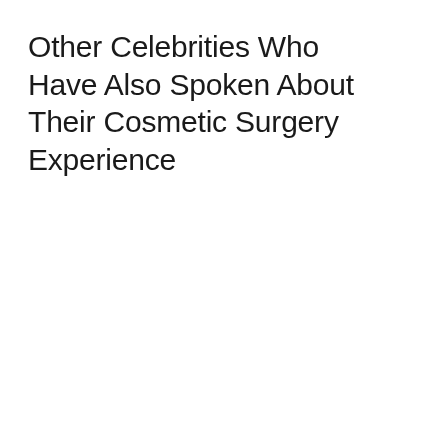Other Celebrities Who Have Also Spoken About Their Cosmetic Surgery Experience